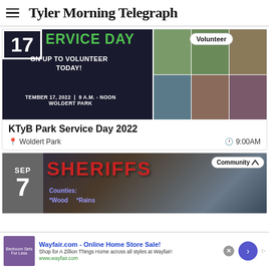Tyler Morning Telegraph
[Figure (photo): KTyB Park Service Day 2022 event banner showing date 17, green SERVICE DAY heading, sign up to volunteer today, September 17 2022 9 AM - Noon Woldert Park, Volunteer badge, and photo grid of volunteers working in park]
KTyB Park Service Day 2022
Woldert Park  9:00AM
[Figure (photo): SHERIFFS banner with SEP 7 date badge, red SHERIFFS text, Counties: Wood, Rains, Community badge with chevron]
Wayfair.com - Online Home Store Sale!
Shop for A Zillion Things Home across all styles at Wayfair!
www.wayfair.com